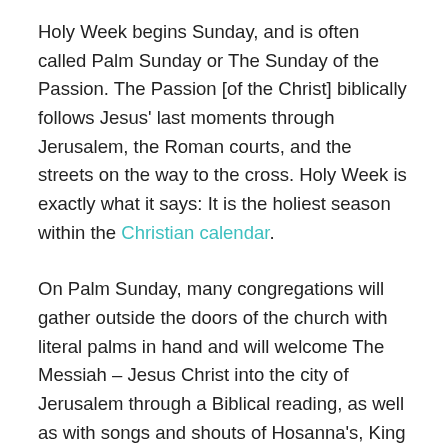Holy Week begins Sunday, and is often called Palm Sunday or The Sunday of the Passion. The Passion [of the Christ] biblically follows Jesus' last moments through Jerusalem, the Roman courts, and the streets on the way to the cross. Holy Week is exactly what it says: It is the holiest season within the Christian calendar.
On Palm Sunday, many congregations will gather outside the doors of the church with literal palms in hand and will welcome The Messiah – Jesus Christ into the city of Jerusalem through a Biblical reading, as well as with songs and shouts of Hosanna's, King of Kings, and Lord of Lords; but once the congregation enters into the space of the church building the drama will heighten around the reading of the Passion of Christ (This year's reading comes from the Gospel according to Matthew...